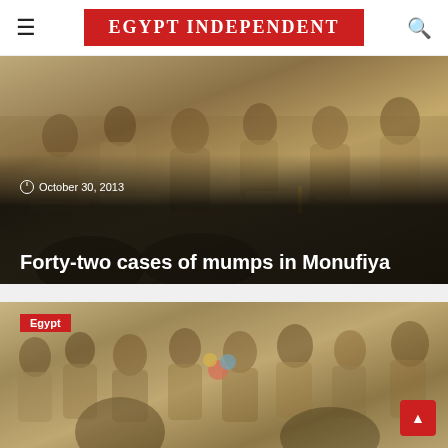EGYPT INDEPENDENT
[Figure (photo): Children in school uniforms sitting at desks in a classroom, looking attentive. Article hero image for mumps story.]
October 30, 2013
Forty-two cases of mumps in Monufiya
[Figure (photo): Classroom full of young children in tan/khaki uniforms sitting at desks. Egypt tag visible. Second article card.]